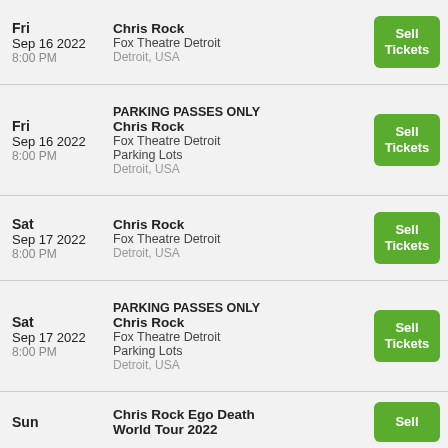| Date | Event | Action |
| --- | --- | --- |
| Fri
Sep 16 2022
8:00 PM | Chris Rock
Fox Theatre Detroit
Detroit, USA | Sell Tickets |
| Fri
Sep 16 2022
8:00 PM | PARKING PASSES ONLY Chris Rock
Fox Theatre Detroit Parking Lots
Detroit, USA | Sell Tickets |
| Sat
Sep 17 2022
8:00 PM | Chris Rock
Fox Theatre Detroit
Detroit, USA | Sell Tickets |
| Sat
Sep 17 2022
8:00 PM | PARKING PASSES ONLY Chris Rock
Fox Theatre Detroit Parking Lots
Detroit, USA | Sell Tickets |
| Sun | Chris Rock Ego Death World Tour 2022 | Sell |